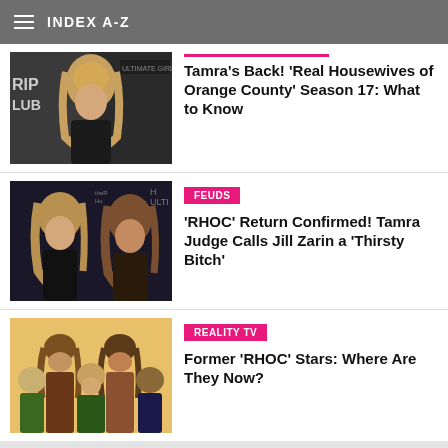INDEX A-Z
[Figure (photo): Blonde woman at Real Housewives event]
Tamra's Back! 'Real Housewives of Orange County' Season 17: What to Know
[Figure (photo): Two women at RHOC event]
FEUDS
'RHOC' Return Confirmed! Tamra Judge Calls Jill Zarin a 'Thirsty Bitch'
[Figure (photo): Group of former RHOC stars]
REALITY TV
Former 'RHOC' Stars: Where Are They Now?